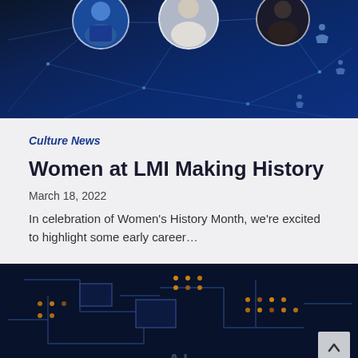[Figure (photo): Dark blue network/technology background with circular profile photos of three women at the top]
Culture News
Women at LMI Making History
March 18, 2022
In celebration of Women's History Month, we're excited to highlight some early career…
[Figure (photo): Close-up dark blue illuminated circuit board with orange/yellow LED lights and AI text visible at the bottom]